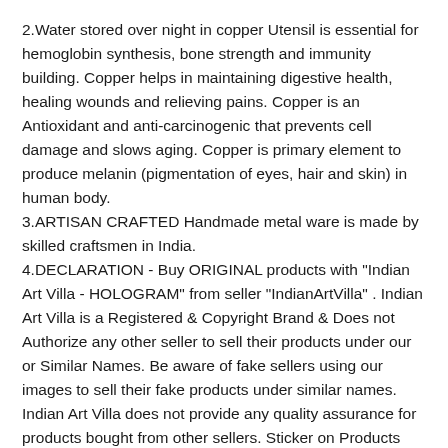2.Water stored over night in copper Utensil is essential for hemoglobin synthesis, bone strength and immunity building. Copper helps in maintaining digestive health, healing wounds and relieving pains. Copper is an Antioxidant and anti-carcinogenic that prevents cell damage and slows aging. Copper is primary element to produce melanin (pigmentation of eyes, hair and skin) in human body.
3.ARTISAN CRAFTED Handmade metal ware is made by skilled craftsmen in India.
4.DECLARATION - Buy ORIGINAL products with "Indian Art Villa - HOLOGRAM" from seller "IndianArtVilla" . Indian Art Villa is a Registered & Copyright Brand & Does not Authorize any other seller to sell their products under our or Similar Names. Be aware of fake sellers using our images to sell their fake products under similar names. Indian Art Villa does not provide any quality assurance for products bought from other sellers. Sticker on Products are for Refrence Purpose